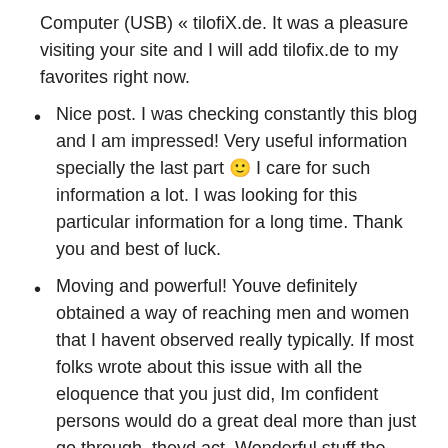Computer (USB) « tilofiX.de. It was a pleasure visiting your site and I will add tilofix.de to my favorites right now.
Nice post. I was checking constantly this blog and I am impressed! Very useful information specially the last part 🙂 I care for such information a lot. I was looking for this particular information for a long time. Thank you and best of luck.
Moving and powerful! Youve definitely obtained a way of reaching men and women that I havent observed really typically. If most folks wrote about this issue with all the eloquence that you just did, Im confident persons would do a great deal more than just go through, theyd act. Wonderful stuff the following. Please keep it up.